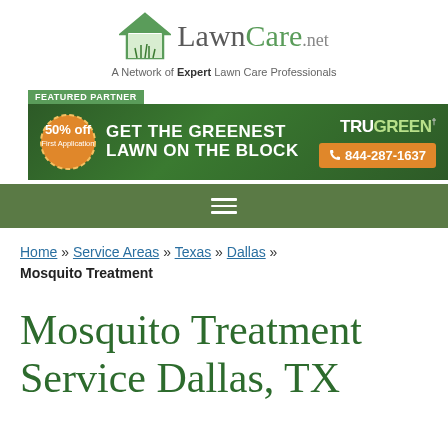[Figure (logo): LawnCare.net logo with house/lawn icon and tagline 'A Network of Expert Lawn Care Professionals']
[Figure (infographic): TruGreen featured partner advertisement banner: '50% off First Application' badge, 'GET THE GREENEST LAWN ON THE BLOCK', TRUGREEN logo, phone 844-287-1637]
[Figure (other): Green navigation bar with hamburger menu icon]
Home » Service Areas » Texas » Dallas » Mosquito Treatment
Mosquito Treatment Service Dallas, TX